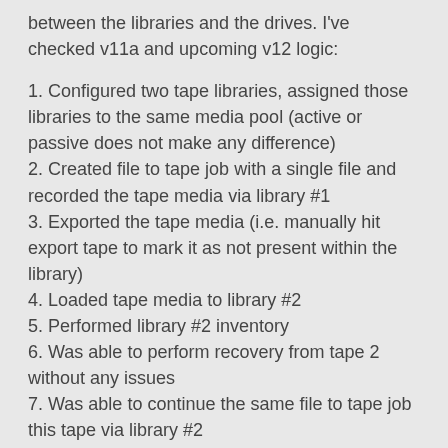between the libraries and the drives. I've checked v11a and upcoming v12 logic:
1. Configured two tape libraries, assigned those libraries to the same media pool (active or passive does not make any difference)
2. Created file to tape job with a single file and recorded the tape media via library #1
3. Exported the tape media (i.e. manually hit export tape to mark it as not present within the library)
4. Loaded tape media to library #2
5. Performed library #2 inventory
6. Was able to perform recovery from tape 2 without any issues
7. Was able to continue the same file to tape job this tape via library #2
It seems that two required actions are to tell B&R that this tape is offline in library 1 (which can be automated via job export functionality) and tell to the B&R that the same tape is now available at library 2 via regular import tapes procedure.